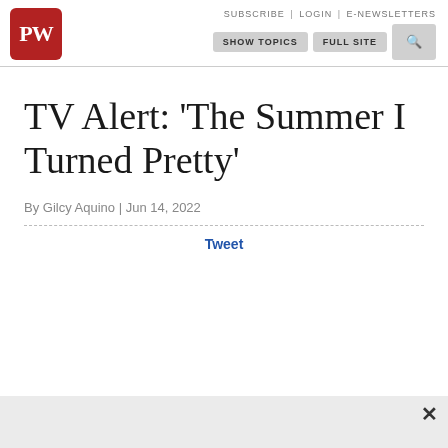PW | SUBSCRIBE | LOGIN | E-NEWSLETTERS | SHOW TOPICS | Full Site
TV Alert: 'The Summer I Turned Pretty'
By Gilcy Aquino | Jun 14, 2022
Tweet